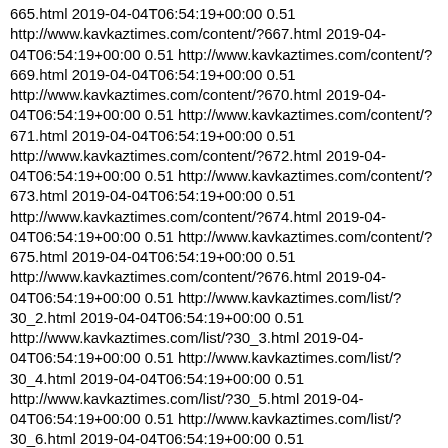665.html 2019-04-04T06:54:19+00:00 0.51 http://www.kavkaztimes.com/content/?667.html 2019-04-04T06:54:19+00:00 0.51 http://www.kavkaztimes.com/content/?669.html 2019-04-04T06:54:19+00:00 0.51 http://www.kavkaztimes.com/content/?670.html 2019-04-04T06:54:19+00:00 0.51 http://www.kavkaztimes.com/content/?671.html 2019-04-04T06:54:19+00:00 0.51 http://www.kavkaztimes.com/content/?672.html 2019-04-04T06:54:19+00:00 0.51 http://www.kavkaztimes.com/content/?673.html 2019-04-04T06:54:19+00:00 0.51 http://www.kavkaztimes.com/content/?674.html 2019-04-04T06:54:19+00:00 0.51 http://www.kavkaztimes.com/content/?675.html 2019-04-04T06:54:19+00:00 0.51 http://www.kavkaztimes.com/content/?676.html 2019-04-04T06:54:19+00:00 0.51 http://www.kavkaztimes.com/list/?30_2.html 2019-04-04T06:54:19+00:00 0.51 http://www.kavkaztimes.com/list/?30_3.html 2019-04-04T06:54:19+00:00 0.51 http://www.kavkaztimes.com/list/?30_4.html 2019-04-04T06:54:19+00:00 0.51 http://www.kavkaztimes.com/list/?30_5.html 2019-04-04T06:54:19+00:00 0.51 http://www.kavkaztimes.com/list/?30_6.html 2019-04-04T06:54:19+00:00 0.51 http://www.kavkaztimes.com/list/?32_2.html 2019-04-04T06:54:19+00:00 0.51 [link in Cyrillic]